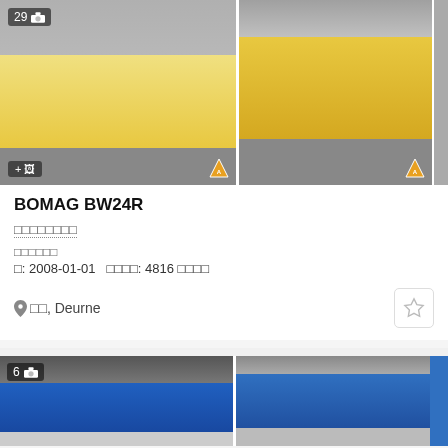[Figure (photo): BOMAG BW24R yellow road roller, side view, first photo with badge showing 29 photos]
[Figure (photo): BOMAG BW24R yellow road roller, front-side view, second photo]
BOMAG BW24R
가격 문의하기 (dotted underline link)
작업 장비 분류
년: 2008-01-01   작동 시간: 4816 시간
📍 벨기에, Deurne
[Figure (photo): Blue machinery, second listing, 6 photos badge]
[Figure (photo): Blue machinery second view, second listing]